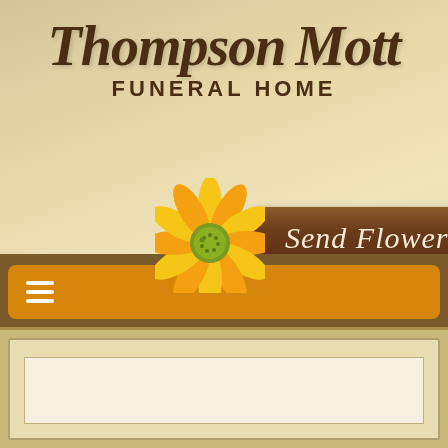[Figure (logo): Thompson Mott Funeral Home logo with cursive italic text in dark brown, subtitle in uppercase spaced letters, accompanied by a yellow daisy flower graphic and a brown rounded-rectangle 'Send Flowers' button with italic script text]
[Figure (screenshot): Orange navigation bar with hamburger menu icon (three white horizontal lines) on a brown background strip]
[Figure (screenshot): Bottom section with tan/gold background and a white content area box]